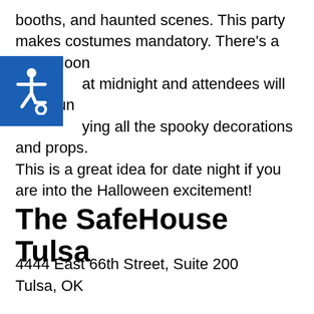booths, and haunted scenes. This party makes costumes mandatory. There's a big balloon at midnight and attendees will have fun enjoying all the spooky decorations and props. This is a great idea for date night if you are into the Halloween excitement!
[Figure (illustration): Blue square accessibility icon with white wheelchair symbol]
The SafeHouse Tulsa
4444 East 66th Street, Suite 200
Tulsa, OK
Website
Halloween is a great time to do escape rooms if you have never tried them before. This is another fun and exciting escape room experience during normal circumstances, with